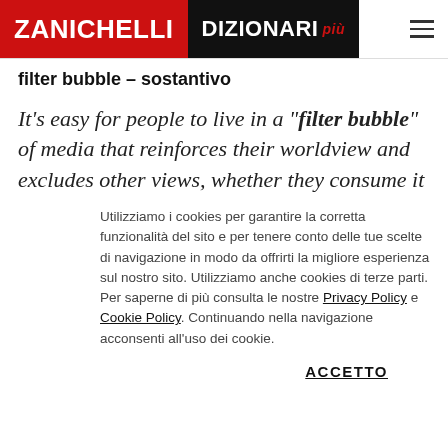ZANICHELLI | DIZIONARI più
filter bubble – sostantivo
It's easy for people to live in a "filter bubble" of media that reinforces their worldview and excludes other views, whether they consume it
Utilizziamo i cookies per garantire la corretta funzionalità del sito e per tenere conto delle tue scelte di navigazione in modo da offrirti la migliore esperienza sul nostro sito. Utilizziamo anche cookies di terze parti. Per saperne di più consulta le nostre Privacy Policy e Cookie Policy. Continuando nella navigazione acconsenti all'uso dei cookie.
ACCETTO